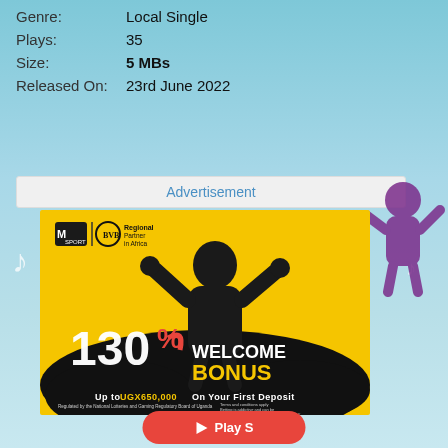Genre: Local Single
Plays: 35
Size: 5 MBs
Released On: 23rd June 2022
Advertisement
[Figure (photo): MSport BVB advertisement banner: 130% Welcome Bonus, Up to UGX650,000 On Your First Deposit. Features a man in a black t-shirt celebrating with fists raised, on yellow and black background with MSport and BVB Regional Partner in Africa logos.]
Play S...